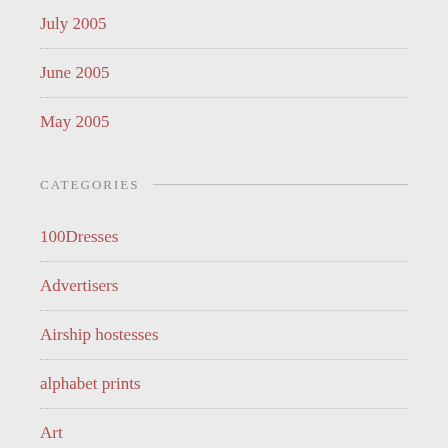July 2005
June 2005
May 2005
CATEGORIES
100Dresses
Advertisers
Airship hostesses
alphabet prints
Art
Australia